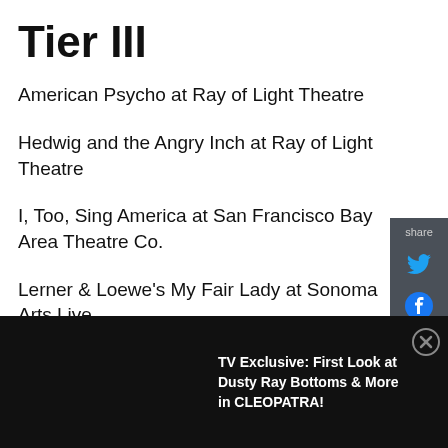Tier III
American Psycho at Ray of Light Theatre
Hedwig and the Angry Inch at Ray of Light Theatre
I, Too, Sing America at San Francisco Bay Area Theatre Co.
Lerner & Loewe's My Fair Lady at Sonoma Arts Live
Rodgers & Hammerstein's Cinderella at Foothill Music Theatre
[Figure (infographic): Share sidebar with Twitter and Facebook icons on dark gray background]
TV Exclusive: First Look at Dusty Ray Bottoms & More in CLEOPATRA!